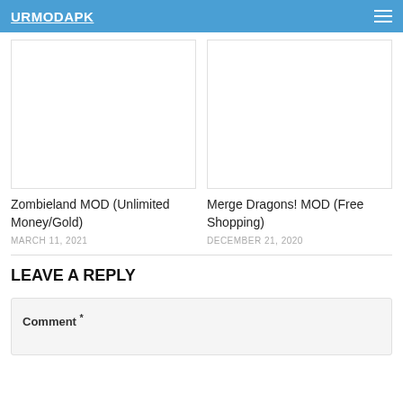URMODAPK
[Figure (screenshot): Empty white image placeholder for Zombieland MOD article]
Zombieland MOD (Unlimited Money/Gold)
MARCH 11, 2021
[Figure (screenshot): Empty white image placeholder for Merge Dragons! MOD article]
Merge Dragons! MOD (Free Shopping)
DECEMBER 21, 2020
LEAVE A REPLY
Comment *